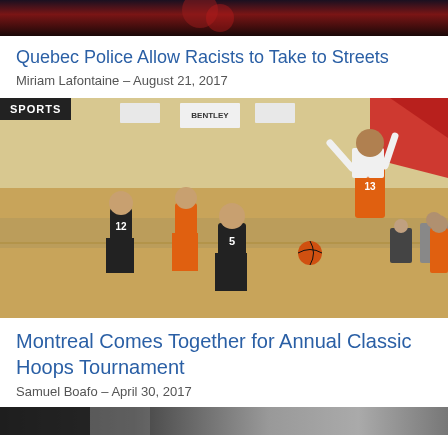[Figure (photo): Top partial image, dark reddish tones, cropped at top of page]
Quebec Police Allow Racists to Take to Streets
Miriam Lafontaine – August 21, 2017
[Figure (photo): Sports photo of a youth basketball game in a gymnasium. Players in orange and black uniforms. A SPORTS badge overlays the top-left corner. A Bentley banner is visible in the background.]
Montreal Comes Together for Annual Classic Hoops Tournament
Samuel Boafo – April 30, 2017
[Figure (photo): Bottom partial image strip, dark tones, partially visible]